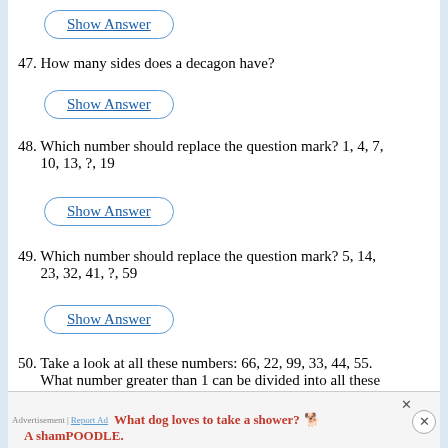[Figure (other): Show Answer button with rounded border]
47. How many sides does a decagon have?
[Figure (other): Show Answer button with rounded border]
48. Which number should replace the question mark? 1, 4, 7, 10, 13, ?, 19
[Figure (other): Show Answer button with rounded border]
49. Which number should replace the question mark? 5, 14, 23, 32, 41, ?, 59
[Figure (other): Show Answer button with rounded border]
50. Take a look at all these numbers: 66, 22, 99, 33, 44, 55. What number greater than 1 can be divided into all these n
Advertisement | Report Ad  What dog loves to take a shower? A shamPOODLE.